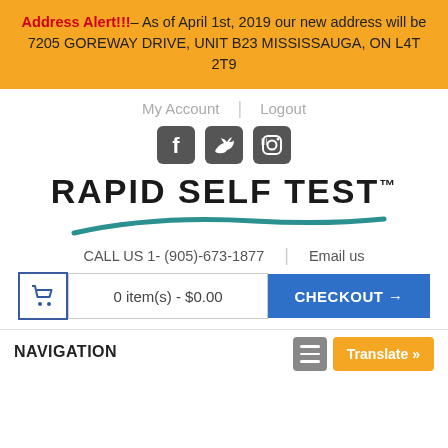Address Alert!!! – As of April 1st, 2019 our new address will be 7205 GOREWAY DRIVE, UNIT B23 MISSISSAUGA, ON L4T 2T9
My Account | Logout
[Figure (illustration): Three social media icons: Facebook, Twitter, Instagram in dark rounded square buttons]
[Figure (logo): RAPID SELF TEST logo with trademark symbol and teal swoosh underline]
CALL US 1- (905)-673-1877 | Email us
0 item(s) - $0.00  CHECKOUT →
NAVIGATION
Translate »